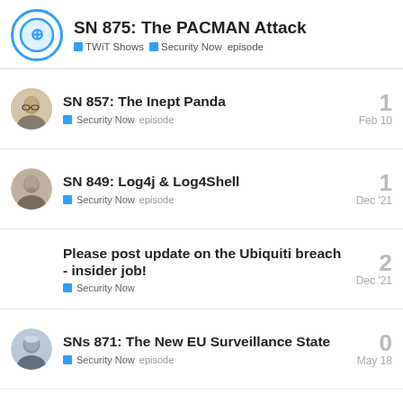SN 875: The PACMAN Attack — TWiT Shows, Security Now, episode
SN 857: The Inept Panda — Security Now episode — 1 — Feb 10
SN 849: Log4j & Log4Shell — Security Now episode — 1 — Dec '21
Please post update on the Ubiquiti breach - insider job! — Security Now — 2 — Dec '21
SNs 871: The New EU Surveillance State — Security Now episode — 0 — May 18
Want to read more? Browse other topics in Security Now or view latest topics.